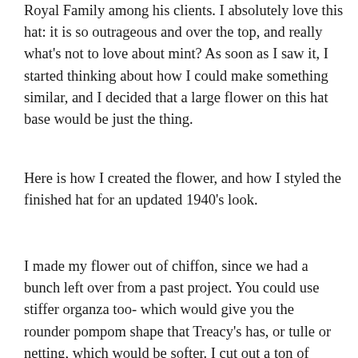Royal Family among his clients. I absolutely love this hat: it is so outrageous and over the top, and really what's not to love about mint? As soon as I saw it, I started thinking about how I could make something similar, and I decided that a large flower on this hat base would be just the thing.
Here is how I created the flower, and how I styled the finished hat for an updated 1940's look.
I made my flower out of chiffon, since we had a bunch left over from a past project. You could use stiffer organza too- which would give you the rounder pompom shape that Treacy's has, or tulle or netting, which would be softer. I cut out a ton of circles, 5 inches in diameter. You